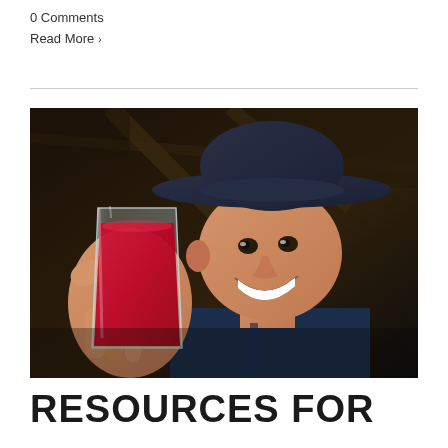0 Comments
Read More >
[Figure (photo): An elderly man wearing a dark wide-brimmed hat holding up a glass of red/pink smoothie or juice, smiling broadly. Indoor barn-like setting with wooden beams in the background.]
RESOURCES FOR